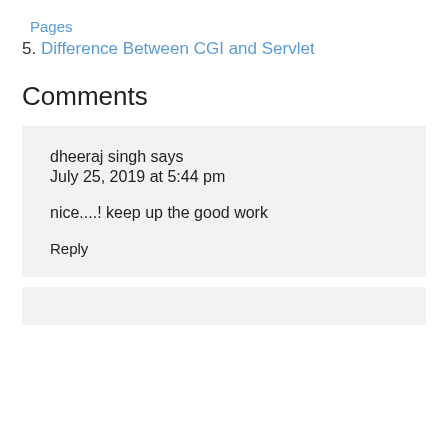Pages
5. Difference Between CGI and Servlet
Comments
dheeraj singh says
July 25, 2019 at 5:44 pm
nice....! keep up the good work
Reply